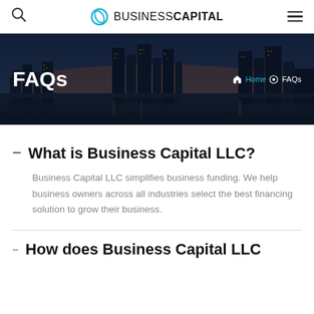BUSINESSCAPITAL — navigation header with search and menu icons
[Figure (photo): City skyline at dusk/night with dark blue sky and illuminated buildings reflected in water, used as hero banner background]
FAQs
Home  FAQs
What is Business Capital LLC?
Business Capital LLC simplifies business funding. We help business owners across all industries select the best financing solution to grow their business.
How does Business Capital LLC